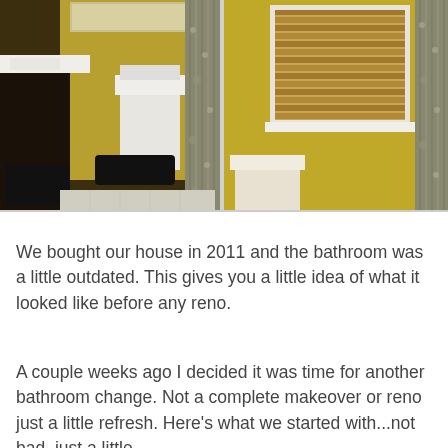[Figure (photo): Two side-by-side bathroom photos showing an outdated bathroom with yellow/olive walls, dark vanity, toilet, and decorative shower curtain. Left photo shows the vanity and toilet area. Right photo shows a bamboo window shade and the shower curtain.]
We bought our house in 2011 and the bathroom was a little outdated. This gives you a little idea of what it looked like before any reno.
A couple weeks ago I decided it was time for another bathroom change. Not a complete makeover or reno just a little refresh. Here's what we started with...not bad, just a little